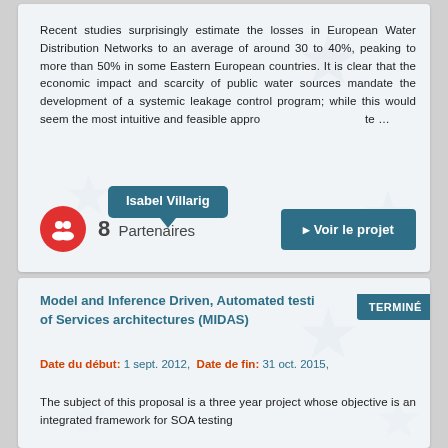Recent studies surprisingly estimate the losses in European Water Distribution Networks to an average of around 30 to 40%, peaking to more than 50% in some Eastern European countries. It is clear that the economic impact and scarcity of public water sources mandate the development of a systemic leakage control program; while this would seem the most intuitive and feasible appro…te …
Isabel Villarig
8 Partenaires
▸ Voir le projet
Model and Inference Driven, Automated testing of Services architectures (MIDAS)
TERMINÉ
Date du début: 1 sept. 2012, Date de fin: 31 oct. 2015,
The subject of this proposal is a three year project whose objective is an integrated framework for SOA testing